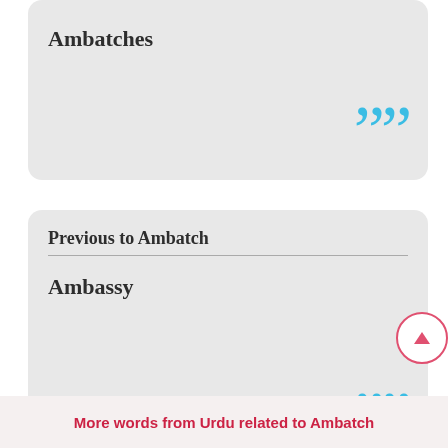Ambatches
Previous to Ambatch
Ambassy
More words from Urdu related to Ambatch